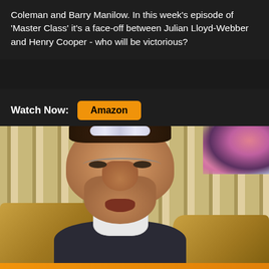Coleman and Barry Manilow. In this week's episode of 'Master Class' it's a face-off between Julian Lloyd-Webber and Henry Cooper - who will be victorious?
Watch Now: Amazon
[Figure (photo): A puppet character with an exaggerated face, wearing a tiara/headband, glasses, and dark clothing with a white collar/cravat, seated in an ornate chair. Background shows striped fabric and flowers.]